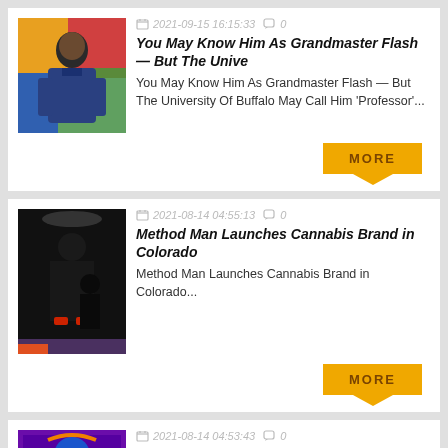[Figure (photo): Person in blue hoodie in front of colorful mural]
2021-09-15 16:15:33  0
You May Know Him As Grandmaster Flash — But The Unive
You May Know Him As Grandmaster Flash — But The University Of Buffalo May Call Him 'Professor'...
[Figure (photo): Person in black performing on stage]
2021-08-14 04:55:13  0
Method Man Launches Cannabis Brand in Colorado
Method Man Launches Cannabis Brand in Colorado...
[Figure (photo): Colorful graphic/illustration with purple and blue tones]
2021-08-14 04:53:43  0